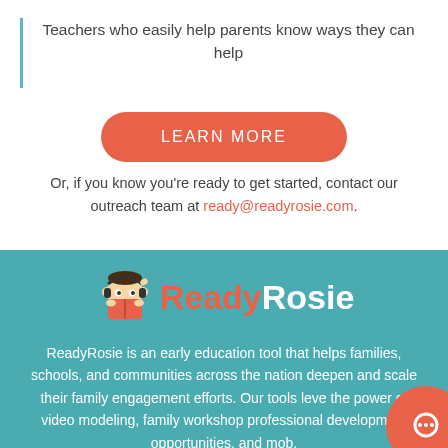Teachers who easily help parents know ways they can help
LEARN MORE
Or, if you know you're ready to get started, contact our outreach team at ready@readyrosie.com.
[Figure (logo): ReadyRosie logo with cartoon character reading a book]
ReadyRosie is an early education tool that helps families, schools, and communities across the nation deepen and scale their family engagement efforts. Our tools leve the power of video modeling, family workshop professional development opportunities, and mob.